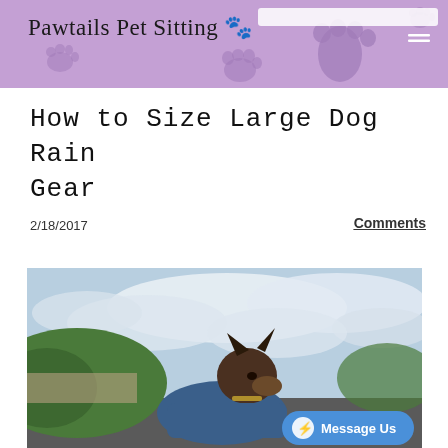Pawtails Pet Sitting
How to Size Large Dog Rain Gear
2/18/2017
Comments
[Figure (photo): A German Shepherd dog wearing a blue rain coat, photographed outdoors against a cloudy sky with green hillside in background. A Facebook Messenger 'Message Us' button overlay appears in the lower right.]